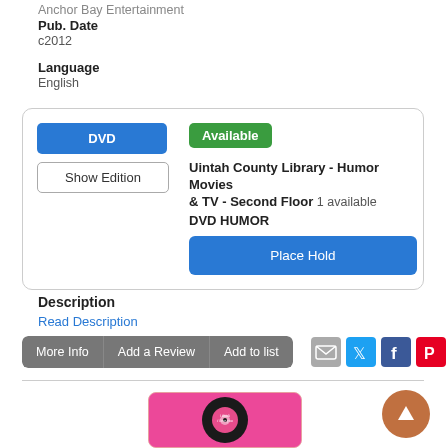Anchor Bay Entertainment
Pub. Date
c2012
Language
English
| DVD | Available | Uintah County Library - Humor Movies & TV - Second Floor  1 available
DVD HUMOR
[Place Hold] |
| Show Edition |  |  |
Description
Read Description
More Info  |  Add a Review  |  Add to list
[Figure (illustration): Book/album cover thumbnail: vinyl record on pink background with 'i think i love you' label]
[Figure (other): Orange circular scroll-to-top button with upward arrow]